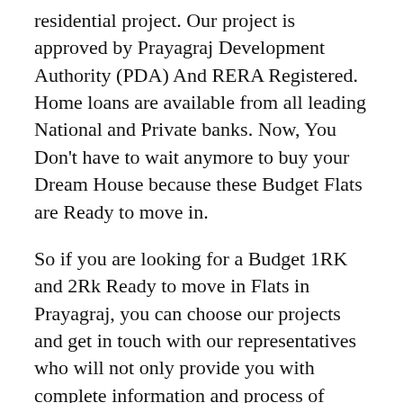residential project. Our project is approved by Prayagraj Development Authority (PDA) And RERA Registered. Home loans are available from all leading National and Private banks. Now, You Don't have to wait anymore to buy your Dream House because these Budget Flats are Ready to move in.
So if you are looking for a Budget 1RK and 2Rk Ready to move in Flats in Prayagraj, you can choose our projects and get in touch with our representatives who will not only provide you with complete information and process of buying a home but also help you.